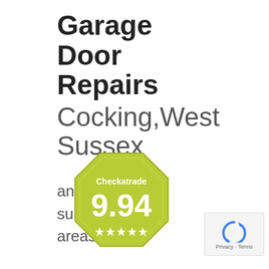Garage Door Repairs Cocking,West Sussex
and surrounding areas...
[Figure (logo): Checkatrade badge/logo showing rating 9.94 with 5 stars, olive/yellow-green octagonal shape]
[Figure (other): Google reCAPTCHA icon with Privacy · Terms text]